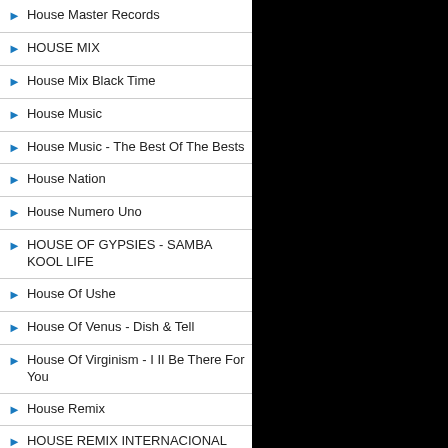House Master Records
HOUSE MIX
House Mix Black Time
House Music
House Music - The Best Of The Bests
House Nation
House Numero Uno
HOUSE OF GYPSIES - SAMBA KOOL LIFE
House Of Ushe
House Of Venus - Dish & Tell
House Of Virginism - I II Be There For You
House Remix
HOUSE REMIX INTERNACIONAL
House Sound